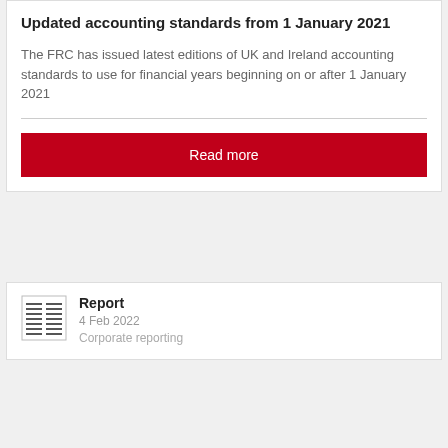Updated accounting standards from 1 January 2021
The FRC has issued latest editions of UK and Ireland accounting standards to use for financial years beginning on or after 1 January 2021
Read more
[Figure (other): Document/report icon showing a two-column text layout]
Report
4 Feb 2022
Corporate reporting